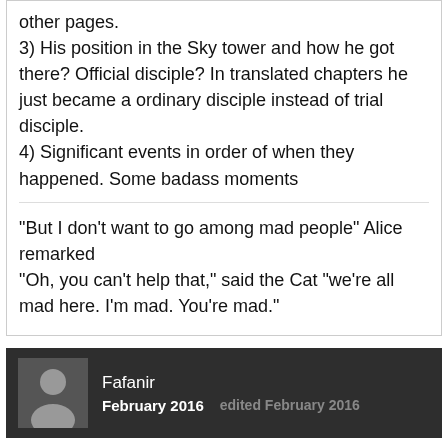other pages.
3) His position in the Sky tower and how he got there? Official disciple? In translated chapters he just became a ordinary disciple instead of trial disciple.
4) Significant events in order of when they happened. Some badass moments
“But I don’t want to go among mad people” Alice remarked
"Oh, you can’t help that," said the Cat "we’re all mad here. I’m mad. You’re mad."
Fafanir
February 2016   edited February 2016
CantThinkOfAName said:
what do you want to know? i already catch up to the last raw update.